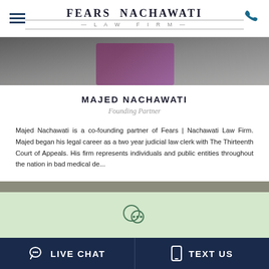FEARS NACHAWATI LAW FIRM
[Figure (photo): Partial photo of Majed Nachawati in a suit, cropped at top]
MAJED NACHAWATI
Founding Partner
Majed Nachawati is a co-founding partner of Fears | Nachawati Law Firm. Majed began his legal career as a two year judicial law clerk with The Thirteenth Court of Appeals. His firm represents individuals and public entities throughout the nation in bad medical de...
READ MORE
LIVE CHAT   TEXT US